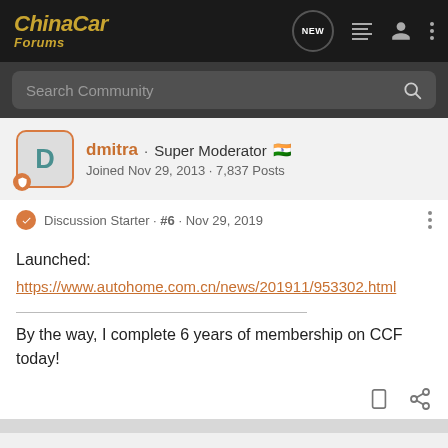ChinaCar Forums
Search Community
dmitra · Super Moderator 🇮🇳
Joined Nov 29, 2013 · 7,837 Posts
Discussion Starter · #6 · Nov 29, 2019
Launched:
https://www.autohome.com.cn/news/201911/953302.html
By the way, I complete 6 years of membership on CCF today!